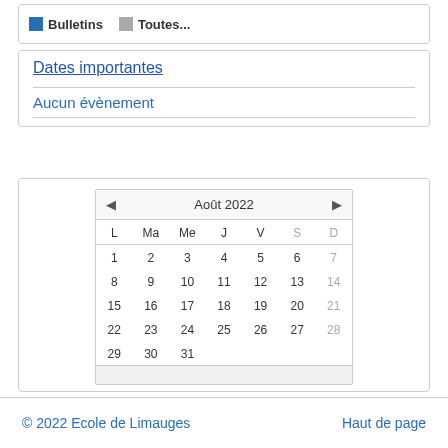Bulletins   Toutes...
Dates importantes
Aucun évènement
[Figure (other): Monthly calendar for Août 2022 with navigation arrows. Days L Ma Me J V S D. Dates 1-31. Day 25 highlighted with red circle (today).]
© 2022 Ecole de Limauges    Haut de page